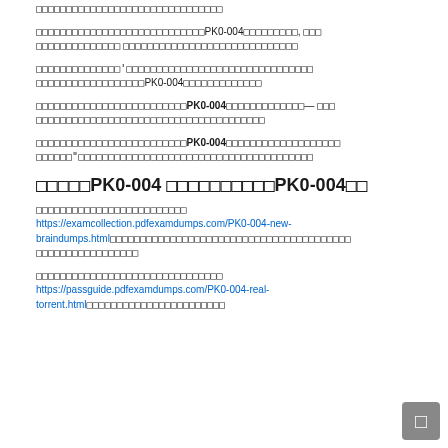（CJK text block 1 — top truncated paragraph）
（CJK text with PK0-004 reference, paragraph 2）
（CJK text with PK0-004 reference, paragraph 3）
（CJK text with bold PK0-004 reference, paragraph 4）
（CJK text with bold PK0-004 reference and quoted text, paragraph 5）
最新のPK0-004 最も権威のあるPK0-004試験
（CJK text with link） https://examcollection.pdfexamdumps.com/PK0-004-new-braindumps.html （CJK text continuation）
（CJK text with link） https://passguide.pdfexamdumps.com/PK0-004-real-torrent.html（CJK text continuation）